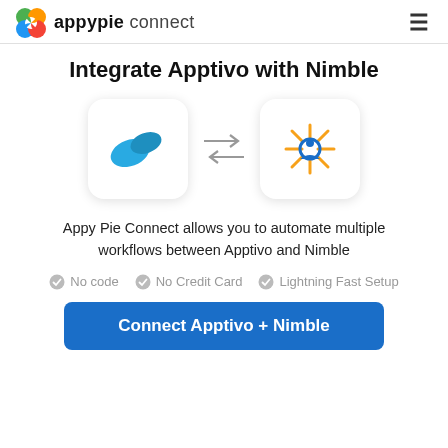appypie connect
Integrate Apptivo with Nimble
[Figure (illustration): Two app icons side by side with bidirectional arrows between them. Left icon shows Apptivo (blue leaf logo on white rounded square). Right icon shows Nimble (orange/blue asterisk-like figure on white rounded square).]
Appy Pie Connect allows you to automate multiple workflows between Apptivo and Nimble
No code
No Credit Card
Lightning Fast Setup
Connect Apptivo + Nimble